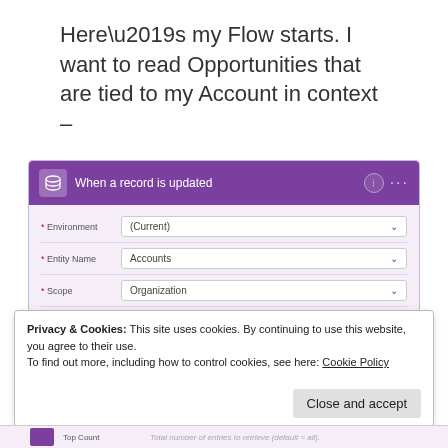Here’s my Flow starts. I want to read Opportunities that are tied to my Account in context –
[Figure (screenshot): Microsoft Power Automate flow step: 'When a record is updated' with fields Environment=(Current), Entity Name=Accounts, Scope=Organization, and a Show advanced options link. A plus/arrow connector leads to a second step below (partially visible).]
Privacy & Cookies: This site uses cookies. By continuing to use this website, you agree to their use.
To find out more, including how to control cookies, see here: Cookie Policy
Close and accept
| Top Count | Total number of entries to retrieve (default = all). |
| --- | --- |